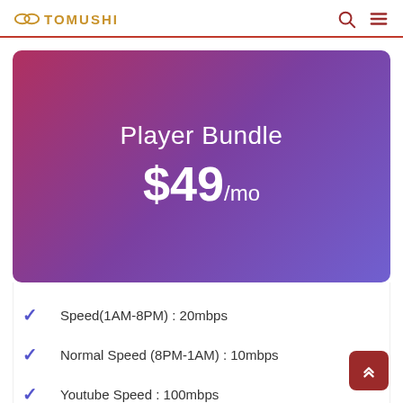TOMUSHI
[Figure (infographic): Pricing card with gradient background (pink to purple). Shows plan name 'Player Bundle' and price '$49/mo' in white text on gradient background.]
Speed(1AM-8PM) : 20mbps
Normal Speed (8PM-1AM) : 10mbps
Youtube Speed : 100mbps
Ftp Speed : 100mbps